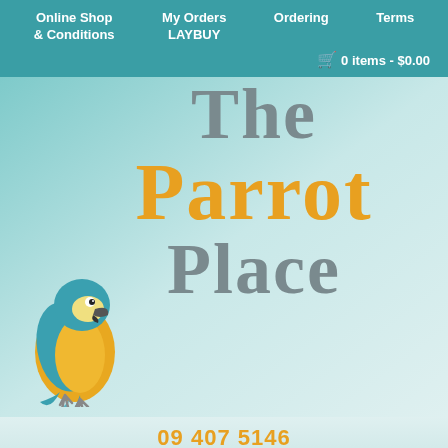Online Shop & Conditions  My Orders LAYBUY  Ordering  Terms
0 items - $0.00
The Parrot Place
[Figure (illustration): Blue and yellow macaw parrot standing, facing left]
09 407 5146